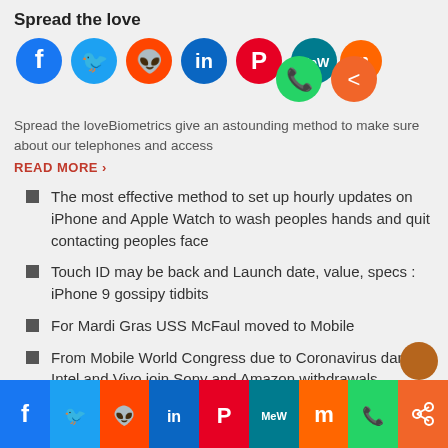Spread the love
[Figure (illustration): Row of social media share button icons: Facebook, Twitter, Reddit, LinkedIn, Pinterest, MeWe, Mix, WhatsApp, Share]
Spread the loveBiometrics give an astounding method to make sure about our telephones and access
READ MORE ›
The most effective method to set up hourly updates on iPhone and Apple Watch to wash peoples hands and quit contacting peoples face
Touch ID may be back and Launch date, value, specs : iPhone 9 gossipy tidbits
For Mardi Gras USS McFaul moved to Mobile
From Mobile World Congress due to Coronavirus danger Intel and Vivo join Sony and Amazon withdrawals
[Figure (illustration): Bottom social media share bar: Facebook, Twitter, Reddit, LinkedIn, Pinterest, MeWe, Mix, WhatsApp, Share buttons]